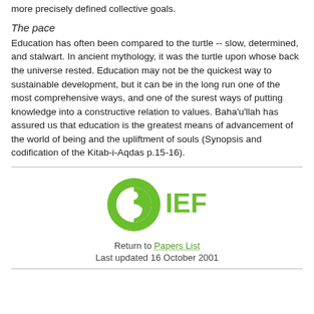more precisely defined collective goals.
The pace
Education has often been compared to the turtle -- slow, determined, and stalwart. In ancient mythology, it was the turtle upon whose back the universe rested. Education may not be the quickest way to sustainable development, but it can be in the long run one of the most comprehensive ways, and one of the surest ways of putting knowledge into a constructive relation to values. Baha'u'llah has assured us that education is the greatest means of advancement of the world of being and the upliftment of souls (Synopsis and codification of the Kitab-i-Aqdas p.15-16).
[Figure (logo): OIEF logo - green circular icon with stylized figure and text 'IEF' in green]
Return to Papers List
Last updated 16 October 2001